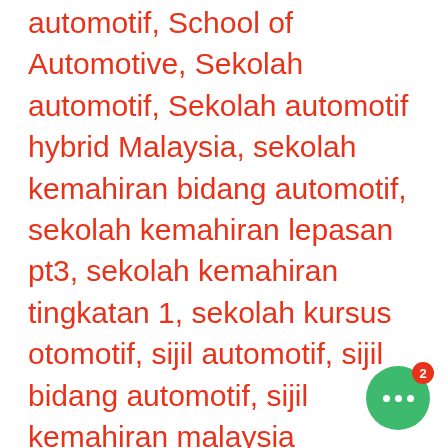automotif, School of Automotive, Sekolah automotif, Sekolah automotif hybrid Malaysia, sekolah kemahiran bidang automotif, sekolah kemahiran lepasan pt3, sekolah kemahiran tingkatan 1, sekolah kursus otomotif, sijil automotif, sijil bidang automotif, sijil kemahiran malaysia automotif, sijil kemahiran malaysia automotive, sijil kemahiran malaysia tahap 3 automotif, Sijil Kemahiran malaysia3, sijil kursus automotif, Sijil Teknologi Automotif, Skill training school, Study as a technician, Study car repair, Study car technician, technical training for mechanical engineers, Tekton Akademi, Tekton Automotive...